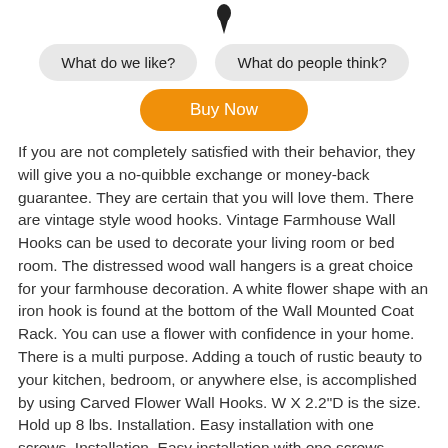[Figure (illustration): Small black icon at top center, appears to be a location pin or tag shape]
What do we like?
What do people think?
Buy Now
If you are not completely satisfied with their behavior, they will give you a no-quibble exchange or money-back guarantee. They are certain that you will love them. There are vintage style wood hooks. Vintage Farmhouse Wall Hooks can be used to decorate your living room or bed room. The distressed wood wall hangers is a great choice for your farmhouse decoration. A white flower shape with an iron hook is found at the bottom of the Wall Mounted Coat Rack. You can use a flower with confidence in your home. There is a multi purpose. Adding a touch of rustic beauty to your kitchen, bedroom, or anywhere else, is accomplished by using Carved Flower Wall Hooks. W X 2.2"D is the size. Hold up 8 lbs. Installation. Easy installation with one screws. Installation. Easy installation with one screws.